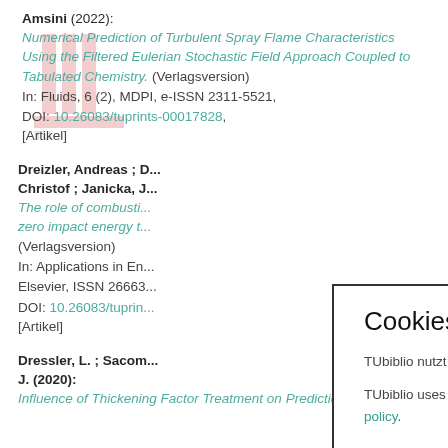Amsini (2022):
Numerical Prediction of Turbulent Spray Flame Characteristics Using the Filtered Eulerian Stochastic Field Approach Coupled to Tabulated Chemistry. (Verlagsversion)
In: Fluids, 6 (2), MDPI, e-ISSN 2311-5521,
DOI: 10.26083/tuprints-00017828,
[Artikel]
Dreizler, Andreas ; ... Christof ; Janicka, J...
The role of combusti... zero impact energy t... (Verlagsversion)
In: Applications in En... Elsevier, ISSN 26663... DOI: 10.26083/tuprin... [Artikel]
Dressler, L. ; Sacom... J. (2020):
Influence of Thickening Factor Treatment on Predictions of
Cookies

TUbiblio nutzt nur technisch notwendige Cookies. Weitere Informationen in der Datenschutzerklärung.

TUbiblio uses only technically necessary cookies. For further Information see the privacy policy.

Okay